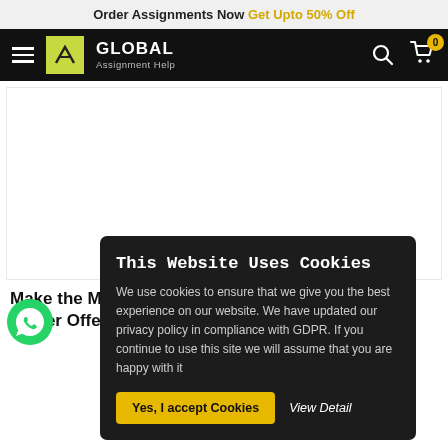Order Assignments Now Get Upto 50% Off
[Figure (logo): Global Assignment Help logo with navigation bar on black background]
[Figure (photo): Large white/blank content area placeholder]
Make the Most Out of Global Assignment Help Easter Offer 2022
This Website Uses Cookies
We use cookies to ensure that we give you the best experience on our website. We have updated our privacy policy in compliance with GDPR. If you continue to use this site we will assume that you are happy with it
Yes, I accept Cookies  View Detail